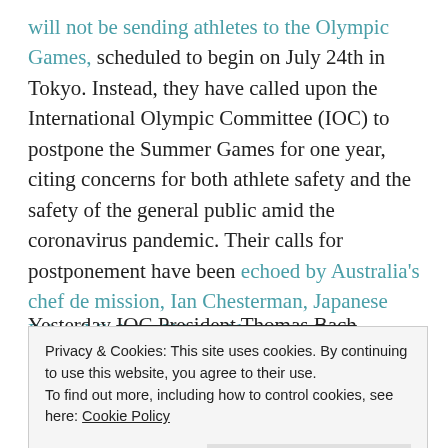will not be sending athletes to the Olympic Games, scheduled to begin on July 24th in Tokyo. Instead, they have called upon the International Olympic Committee (IOC) to postpone the Summer Games for one year, citing concerns for both athlete safety and the safety of the general public amid the coronavirus pandemic. Their calls for postponement have been echoed by Australia's chef de mission, Ian Chesterman, Japanese Prime Minister Shinzo Abe, as well as countless athletes and fans around the globe.
Yesterday IOC President Thomas Bach released a
Privacy & Cookies: This site uses cookies. By continuing to use this website, you agree to their use.
To find out more, including how to control cookies, see here: Cookie Policy
Close and accept
solve any problem and would help nobody" it reads